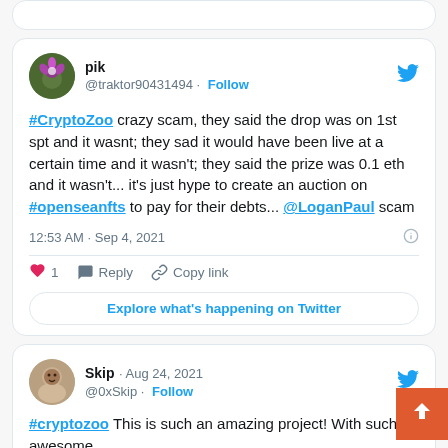[Figure (screenshot): Partial top of a tweet card (upper edge visible)]
pik @traktor90431494 · Follow
#CryptoZoo crazy scam, they said the drop was on 1st spt and it wasnt; they sad it would have been live at a certain time and it wasn't; they said the prize was 0.1 eth and it wasn't... it's just hype to create an auction on #openseanfts to pay for their debts... @LoganPaul scam
12:53 AM · Sep 4, 2021
1  Reply  Copy link
Explore what's happening on Twitter
Skip · Aug 24, 2021 @0xSkip · Follow
#cryptozoo This is such an amazing project! With such an awesome